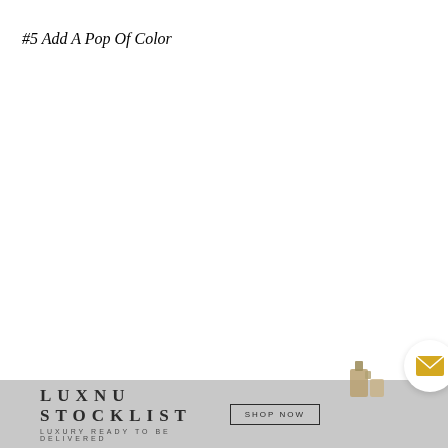#5 Add A Pop Of Color
LUXNU STOCKLIST | LUXURY READY TO BE DELIVERED | SHOP NOW